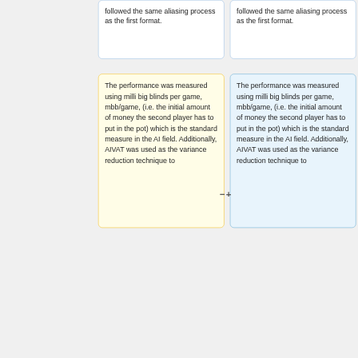followed the same aliasing process as the first format.
followed the same aliasing process as the first format.
The performance was measured using milli big blinds per game, mbb/game, (i.e. the initial amount of money the second player has to put in the pot) which is the standard measure in the AI field. Additionally, AIVAT was used as the variance reduction technique to
The performance was measured using milli big blinds per game, mbb/game, (i.e. the initial amount of money the second player has to put in the pot) which is the standard measure in the AI field. Additionally, AIVAT was used as the variance reduction technique to